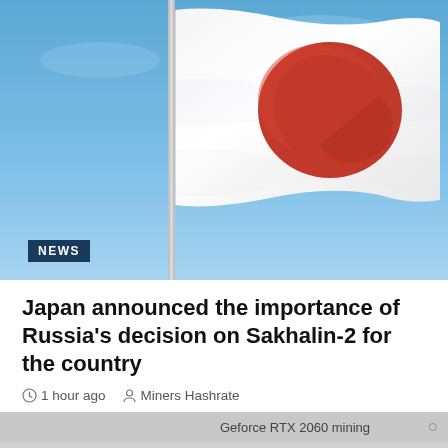[Figure (photo): Japanese flag (Hinomaru) waving against a blue sky, with a NEWS badge overlaid at the bottom left]
Japan announced the importance of Russia's decision on Sakhalin-2 for the country
1 hour ago   Miners Hashrate
Geforce RTX 2060 mining
No compatible source was found for this media.
[Figure (screenshot): Faded/ghosted NVIDIA RTX GPU mining video thumbnail with GEFORCE RTX text and X mark, partially visible]